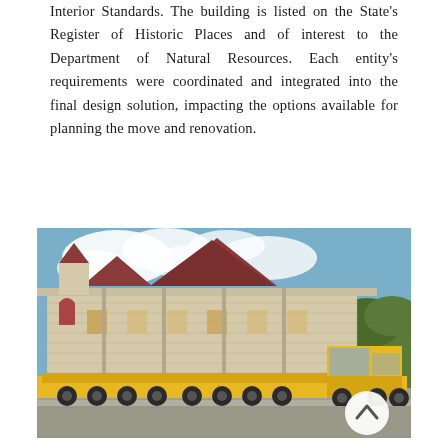Interior Standards. The building is listed on the State's Register of Historic Places and of interest to the Department of Natural Resources. Each entity's requirements were coordinated and integrated into the final design solution, impacting the options available for planning the move and renovation.
[Figure (photo): A historic stone building being transported on a large yellow flatbed truck/trailer with many axles, photographed outdoors with blue sky and clouds in the background.]